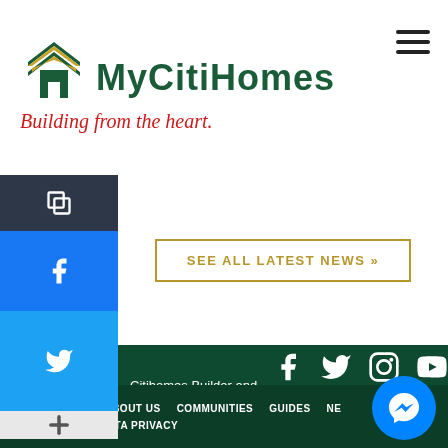[Figure (logo): MyCitiHomes logo with house icon, green and gold colors, tagline 'Building from the heart.' in red italic]
[Figure (other): Hamburger menu icon (three horizontal lines) in top right corner]
[Figure (other): Social sharing sidebar on left: copy icon (dark), Facebook icon (blue), Twitter icon (light blue), plus icon (grey)]
SEE ALL LATEST NEWS »
Citihomes Builder and Development, Inc.
[Figure (other): Social media icons: Facebook, Twitter, Instagram, YouTube, LinkedIn]
THE PROMISE   ABOUT US   COMMUNITIES   GUIDES   NE...   CONTACT US   DATA PRIVACY